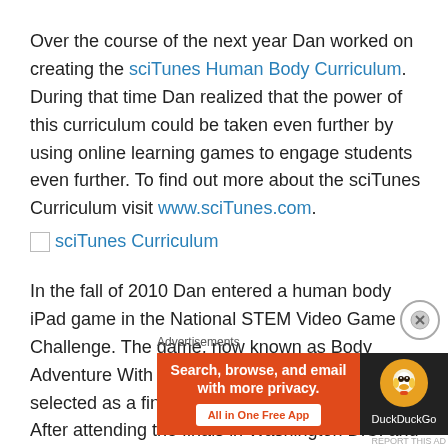Over the course of the next year Dan worked on creating the sciTunes Human Body Curriculum. During that time Dan realized that the power of this curriculum could be taken even further by using online learning games to engage students even further. To find out more about the sciTunes Curriculum visit www.sciTunes.com.
[Figure (other): Image placeholder with alt text 'sciTunes Curriculum']
In the fall of 2010 Dan entered a human body iPad game in the National STEM Video Game Challenge. The game, now known as Body Adventure With Captain Brainy-Pants! was selected as a finalist for the Developer's Prize. After attending the finals in Washington D.C. and presenting th...
[Figure (other): DuckDuckGo advertisement banner: Search, browse, and email with more privacy. All in One Free App.]